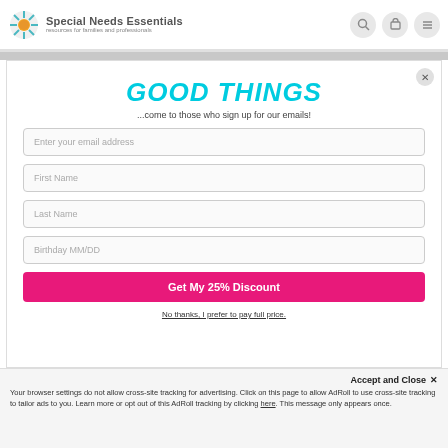Special Needs Essentials — resources for families and professionals
GOOD THINGS
...come to those who sign up for our emails!
Enter your email address
First Name
Last Name
Birthday MM/DD
Get My 25% Discount
No thanks, I prefer to pay full price.
Accept and Close ✕
Your browser settings do not allow cross-site tracking for advertising. Click on this page to allow AdRoll to use cross-site tracking to tailor ads to you. Learn more or opt out of this AdRoll tracking by clicking here. This message only appears once.